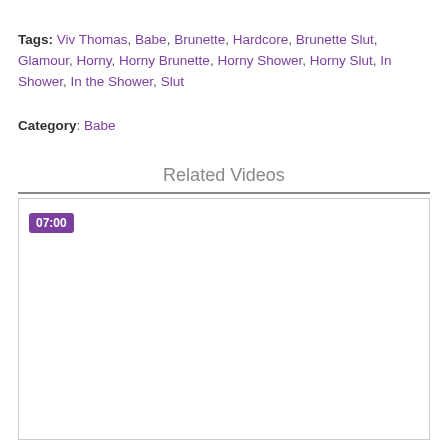Tags: Viv Thomas, Babe, Brunette, Hardcore, Brunette Slut, Glamour, Horny, Horny Brunette, Horny Shower, Horny Slut, In Shower, In the Shower, Slut
Category: Babe
Related Videos
[Figure (screenshot): Video thumbnail placeholder with purple duration badge showing 07:00]